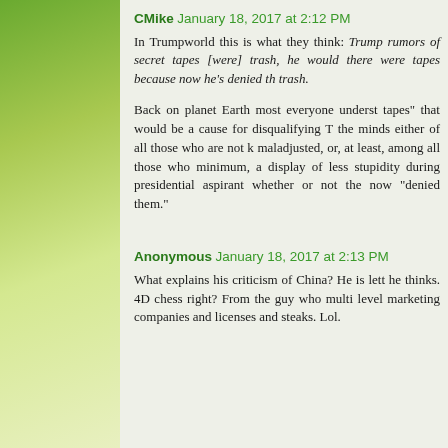CMike January 18, 2017 at 2:12 PM
In Trumpworld this is what they think: Trump rumors of secret tapes [were] trash, he would there were tapes because now he's denied th trash.
Back on planet Earth most everyone underst tapes" that would be a cause for disqualifying T the minds either of all those who are not k maladjusted, or, at least, among all those who minimum, a display of less stupidity during presidential aspirant whether or not the now "denied them."
Anonymous January 18, 2017 at 2:13 PM
What explains his criticism of China? He is lett he thinks. 4D chess right? From the guy who multi level marketing companies and licenses and steaks. Lol.